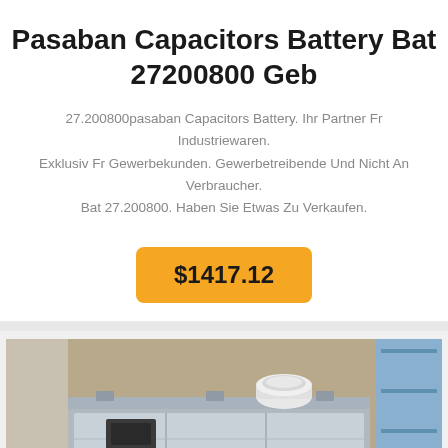Pasaban Capacitors Battery Bat 27200800 Geb
27.200800pasaban Capacitors Battery. Ihr Partner Fr Industriewaren. Exklusiv Fr Gewerbekunden. Gewerbetreibende Und Nicht An Verbraucher. Bat 27.200800. Haben Sie Etwas Zu Verkaufen.
$1417.12
[Figure (photo): Photo of a Pasaban capacitors battery unit (part number 27200800), showing a metallic rectangular battery/capacitor assembly with a white cylindrical component on top, placed on a wooden pallet in a warehouse setting.]